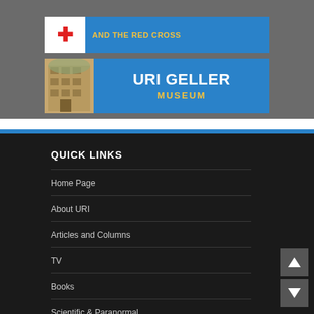[Figure (screenshot): Banner for Red Cross with blue background and red cross icon, gold text 'AND THE RED CROSS']
[Figure (screenshot): Banner for URI GELLER MUSEUM with blue background, building photo on left, white bold text 'URI GELLER' and gold text 'MUSEUM']
QUICK LINKS
Home Page
About URI
Articles and Columns
TV
Books
Scientific & Paranormal
What People Say